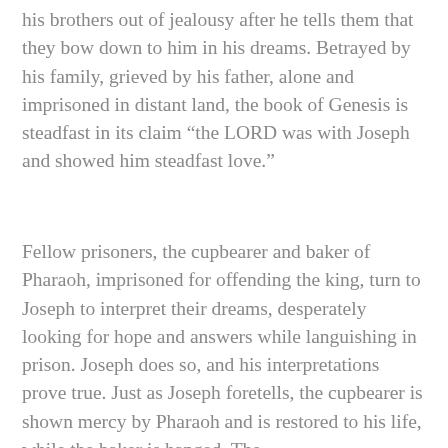his brothers out of jealousy after he tells them that they bow down to him in his dreams. Betrayed by his family, grieved by his father, alone and imprisoned in distant land, the book of Genesis is steadfast in its claim “the LORD was with Joseph and showed him steadfast love.”
Fellow prisoners, the cupbearer and baker of Pharaoh, imprisoned for offending the king, turn to Joseph to interpret their dreams, desperately looking for hope and answers while languishing in prison. Joseph does so, and his interpretations prove true. Just as Joseph foretells, the cupbearer is shown mercy by Pharaoh and is restored to his life, while the baker is hanged. The